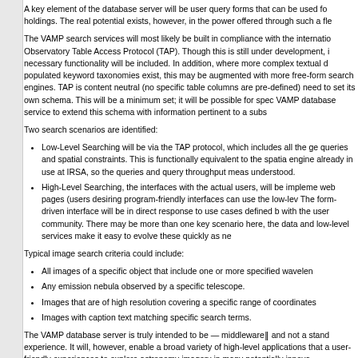A key element of the database server will be user query forms that can be used for holdings. The real potential exists, however, in the power offered through such a fl
The VAMP search services will most likely be built in compliance with the internatio Observatory Table Access Protocol (TAP). Though this is still under development, i necessary functionality will be included. In addition, where more complex textual d populated keyword taxonomies exist, this may be augmented with more free-form search engines. TAP is content neutral (no specific table columns are pre-defined) need to set its own schema. This will be a minimum set; it will be possible for spec VAMP database service to extend this schema with information pertinent to a subs
Two search scenarios are identified:
Low-Level Searching will be via the TAP protocol, which includes all the ge queries and spatial constraints. This is functionally equivalent to the spatia engine already in use at IRSA, so the queries and query throughput meas understood.
High-Level Searching, the interfaces with the actual users, will be impleme web pages (users desiring program-friendly interfaces can use the low-lev The form-driven interface will be in direct response to use cases defined b with the user community. There may be more than one key scenario here, the data and low-level services make it easy to evolve these quickly as ne
Typical image search criteria could include:
All images of a specific object that include one or more specified wavelen
Any emission nebula observed by a specific telescope.
Images that are of high resolution covering a specific range of coordinates
Images with caption text matching specific search terms.
The VAMP database server is truly intended to be — middleware‖ and not a stand experience. It will, however, enable a broad variety of high-level applications that a user-friendly experiences to explore astronomy imagery in many potentially innova
"Applications" are defined as any internet-based process that can issue queries to can parse the match results. Queries can be broad or highly specific, and can cl